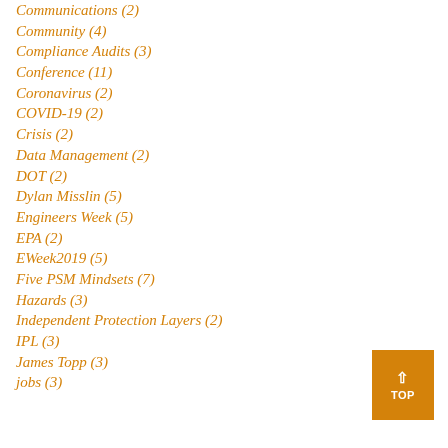Communications (2)
Community (4)
Compliance Audits (3)
Conference (11)
Coronavirus (2)
COVID-19 (2)
Crisis (2)
Data Management (2)
DOT (2)
Dylan Misslin (5)
Engineers Week (5)
EPA (2)
EWeek2019 (5)
Five PSM Mindsets (7)
Hazards (3)
Independent Protection Layers (2)
IPL (3)
James Topp (3)
jobs (3)